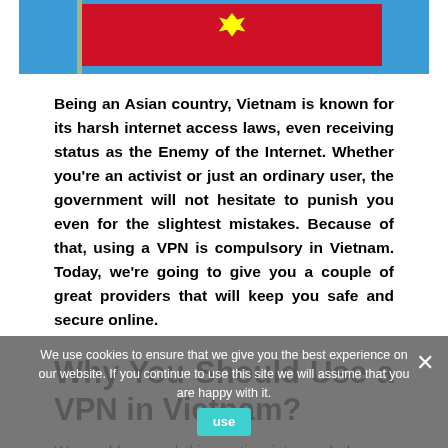[Figure (photo): Vietnam flag (red with yellow star) waving against a blue sky]
Being an Asian country, Vietnam is known for its harsh internet access laws, even receiving status as the Enemy of the Internet. Whether you're an activist or just an ordinary user, the government will not hesitate to punish you even for the slightest mistakes. Because of that, using a VPN is compulsory in Vietnam. Today, we're going to give you a couple of great providers that will keep you safe and secure online.
Why You Should Use a VPN in Vietnam?
We could expand this section into a whole new article, as there are lots of reasons to use this service here. However, let's talk about the most important reasons:
We use cookies to ensure that we give you the best experience on our website. If you continue to use this site we will assume that you are happy with it.